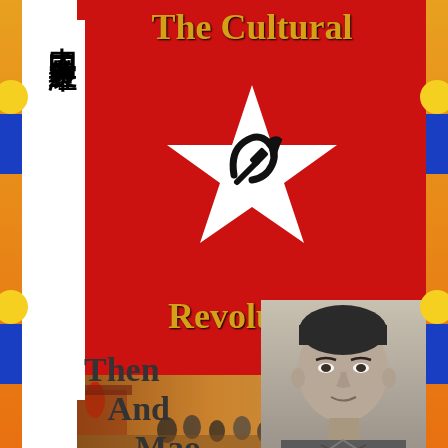The Cultural Revolution
中國工農紅軍
Then And Mao
[Figure (illustration): Red flag background with white star containing hammer and sickle symbol]
[Figure (photo): Black and white portrait photograph of Mao Zedong]
[Figure (illustration): Historical painting showing people marching during the Cultural Revolution]